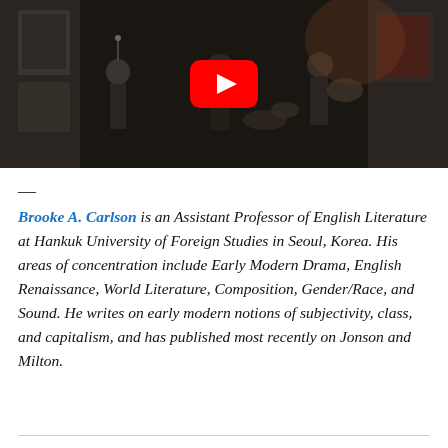[Figure (photo): A dark indoor scene showing musicians performing in what appears to be a gallery or small venue. A YouTube play button overlay is centered on the image. Multiple people are visible along with musical instruments and artwork on the walls.]
—
Brooke A. Carlson is an Assistant Professor of English Literature at Hankuk University of Foreign Studies in Seoul, Korea. His areas of concentration include Early Modern Drama, English Renaissance, World Literature, Composition, Gender/Race, and Sound. He writes on early modern notions of subjectivity, class, and capitalism, and has published most recently on Jonson and Milton.